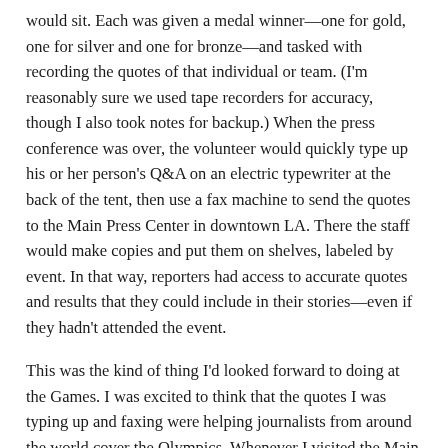would sit. Each was given a medal winner—one for gold, one for silver and one for bronze—and tasked with recording the quotes of that individual or team. (I'm reasonably sure we used tape recorders for accuracy, though I also took notes for backup.) When the press conference was over, the volunteer would quickly type up his or her person's Q&A on an electric typewriter at the back of the tent, then use a fax machine to send the quotes to the Main Press Center in downtown LA. There the staff would make copies and put them on shelves, labeled by event. In that way, reporters had access to accurate quotes and results that they could include in their stories—even if they hadn't attended the event.
This was the kind of thing I'd looked forward to doing at the Games. I was excited to think that the quotes I was typing up and faxing were helping journalists from around the world cover the Olympics. Whenever I visited the Main Press Center, I stopped by the large bank of shelves just to see copies of the Q&A documents I'd sent in previous days. That, along with writing for two newspapers back home, made me feel like a real Olympic journalist.